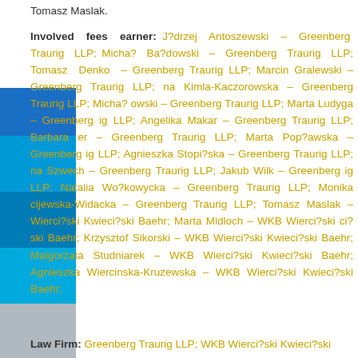Tomasz Maslak.
Involved fees earner: J?drzej Antoszewski – Greenberg Traurig LLP; Micha? Ba?dowski – Greenberg Traurig LLP; Tomasz Denko – Greenberg Traurig LLP; Marcin Gralewski – Greenberg Traurig LLP; na Kimla-Kaczorowska – Greenberg Traurig LLP; Micha? owski – Greenberg Traurig LLP; Marta Ludyga – Greenberg ig LLP; Angelika Makar – Greenberg Traurig LLP; Barbara er – Greenberg Traurig LLP; Marta Pop?awska – Greenberg ig LLP; Agnieszka Stopi?ska – Greenberg Traurig LLP; na Szwech – Greenberg Traurig LLP; Jakub Wilk – Greenberg ig LLP; Natalia Wo?kowycka – Greenberg Traurig LLP; Monika cijewska-Widacka – Greenberg Traurig LLP; Tomasz Maslak – Wierci?ski Kwieci?ski Baehr; Marta Midloch – WKB Wierci?ski ci?ski Baehr; Krzysztof Sikorski – WKB Wierci?ski Kwieci?ski Baehr; Malgorzata Studniarek – WKB Wierci?ski Kwieci?ski Baehr; Agnieszka Wiercinska-Kruzewska – WKB Wierci?ski Kwieci?ski Baehr;
Law Firm: Greenberg Traurig LLP; WKB Wierci?ski Kwieci?ski